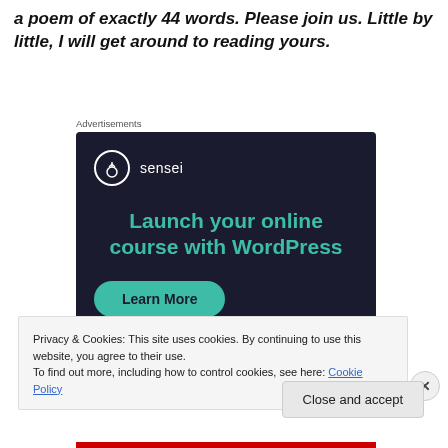a poem of exactly 44 words. Please join us. Little by little, I will get around to reading yours.
Advertisements
[Figure (other): Sensei advertisement with dark navy background. Shows Sensei logo (tree icon in circle) and brand name, headline 'Launch your online course with WordPress' in teal, and a 'Learn More' button in teal/green.]
Privacy & Cookies: This site uses cookies. By continuing to use this website, you agree to their use.
To find out more, including how to control cookies, see here: Cookie Policy